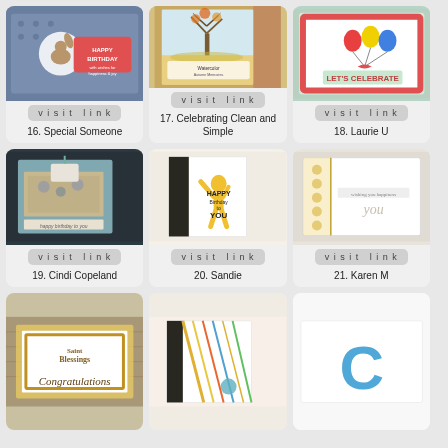[Figure (photo): Handmade greeting card with squirrel and Happy Birthday text on blue polka dot background]
visit link
16. Special Someone
[Figure (photo): Greeting card with autumn tree illustration, orange and yellow watercolor background]
visit link
17. Celebrating Clean and Simple
[Figure (photo): Greeting card with colorful balloons and LET'S CELEBRATE text on red polka dot border]
visit link
18. Laurie U
[Figure (photo): Handmade card with floral tag on teal background with decorative text]
visit link
19. Cindi Copeland
[Figure (photo): White card with yellow basketball player silhouette and Happy Birthday to You text]
visit link
20. Sandie
[Figure (photo): Elegant white card with gold floral border and delicate calligraphy text]
visit link
21. Karen M
[Figure (photo): Ornate Congratulations card with gold decorative frame on wood background]
[Figure (photo): Abstract card with colorful diagonal lines on white background]
[Figure (photo): Card with blue letter C on white background, partially visible]